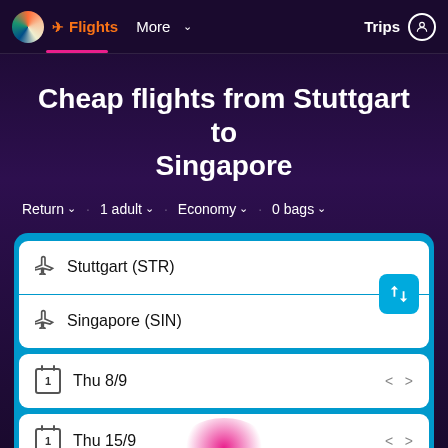Flights  More  Trips
Cheap flights from Stuttgart to Singapore
Return  1 adult  Economy  0 bags
Stuttgart (STR)
Singapore (SIN)
Thu 8/9
Thu 15/9